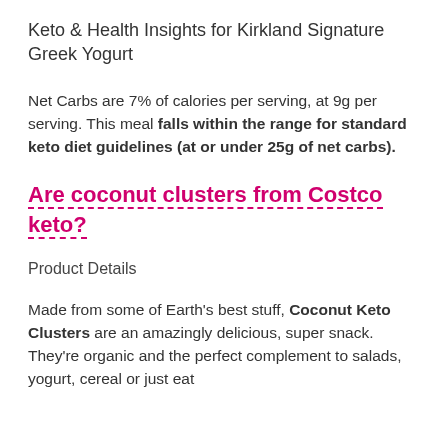Keto & Health Insights for Kirkland Signature Greek Yogurt
Net Carbs are 7% of calories per serving, at 9g per serving. This meal falls within the range for standard keto diet guidelines (at or under 25g of net carbs).
Are coconut clusters from Costco keto?
Product Details
Made from some of Earth's best stuff, Coconut Keto Clusters are an amazingly delicious, super snack. They're organic and the perfect complement to salads, yogurt, cereal or just eat